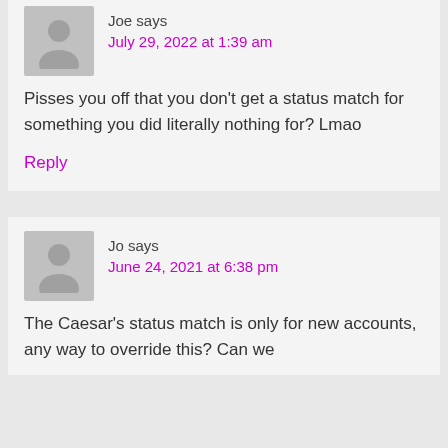Joe says
July 29, 2022 at 1:39 am
Pisses you off that you don't get a status match for something you did literally nothing for? Lmao
Reply
Jo says
June 24, 2021 at 6:38 pm
The Caesar's status match is only for new accounts, any way to override this? Can we